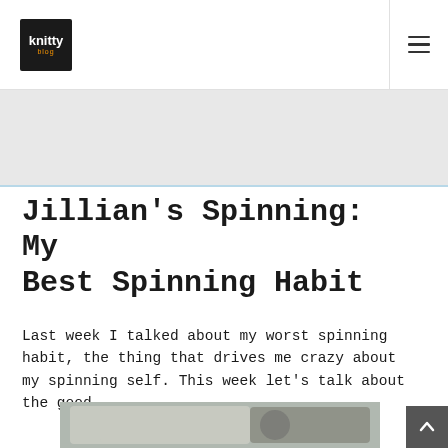knitty blog
Jillian's Spinning: My Best Spinning Habit
Last week I talked about my worst spinning habit, the thing that drives me crazy about my spinning self. This week let's talk about the good.
[Figure (photo): Photo of spinning fiber rolls/bobbins on a bookshelf]